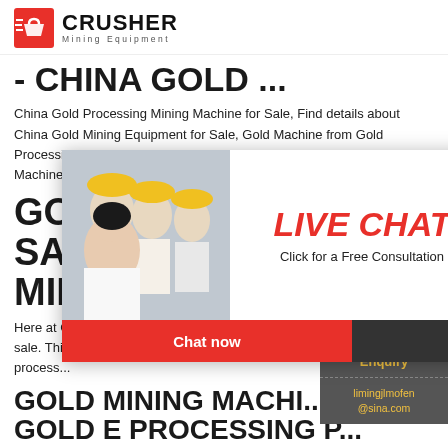[Figure (logo): Crusher Mining Equipment logo with red shopping bag icon and bold CRUSHER text]
- CHINA GOLD ...
China Gold Processing Mining Machine for Sale, Find details about China Gold Mining Equipment for Sale, Gold Machine from Gold Processing Mining Machine for Sale - Jiangxi Jinshibao Mining Machinery Manufacturing Co...
GOLD SALE MININ
Here at Gold Watch Project, we offer a number of gold wash plants for sale. This portable gold mi... equipment can help speed up the mining process...
GOLD MINING MACHI... GOLD E PROCESSING P...
[Figure (photo): Live Chat popup overlay with photos of workers in hard hats and customer service agent, LIVE CHAT text in red italic, Chat now and Chat later buttons]
[Figure (infographic): Right sidebar: 24Hrs Online red banner, Need questions & suggestion? dark panel with Chat Now button, Enquiry link, limingjlmofen@sina.com email]